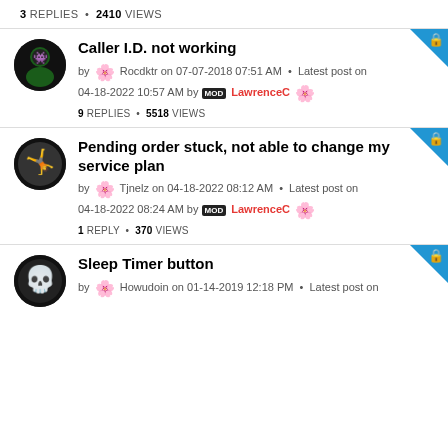3 REPLIES • 2410 VIEWS
Caller I.D. not working — by Rocdktr on 07-07-2018 07:51 AM • Latest post on 04‑18‑2022 10:57 AM by MOD LawrenceC — 9 REPLIES • 5518 VIEWS
Pending order stuck, not able to change my service plan — by Tjnelz on 04‑18‑2022 08:12 AM • Latest post on 04‑18‑2022 08:24 AM by MOD LawrenceC — 1 REPLY • 370 VIEWS
Sleep Timer button — by Howudoin on 01‑14‑2019 12:18 PM • Latest post on